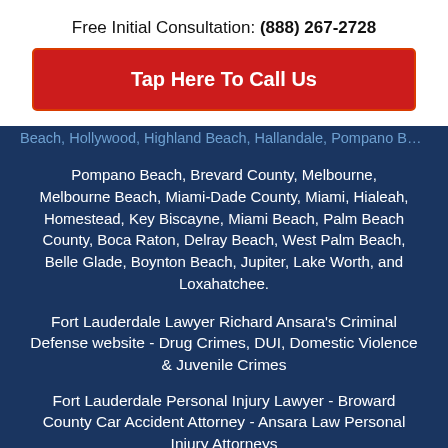Free Initial Consultation: (888) 267-2728
Tap Here To Call Us
Beach, Hollywood, Highland Beach, Hallandale, Pompano Beach, Brevard County, Melbourne, Melbourne Beach, Miami-Dade County, Miami, Hialeah, Homestead, Key Biscayne, Miami Beach, Palm Beach County, Boca Raton, Delray Beach, West Palm Beach, Belle Glade, Boynton Beach, Jupiter, Lake Worth, and Loxahatchee.
Fort Lauderdale Lawyer Richard Ansara's Criminal Defense website - Drug Crimes, DUI, Domestic Violence & Juvenile Crimes
Fort Lauderdale Personal Injury Lawyer - Broward County Car Accident Attorney - Ansara Law Personal Injury Attorneys